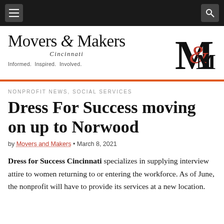Movers & Makers Cincinnati — Informed. Inspired. Involved.
NONPROFIT NEWS, SOCIAL SERVICES
Dress For Success moving on up to Norwood
by Movers and Makers • March 8, 2021
Dress for Success Cincinnati specializes in supplying interview attire to women returning to or entering the workforce. As of June, the nonprofit will have to provide its services at a new location.